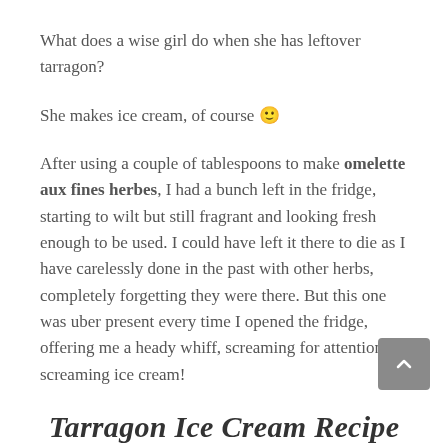What does a wise girl do when she has leftover tarragon?
She makes ice cream, of course 🙂
After using a couple of tablespoons to make omelette aux fines herbes, I had a bunch left in the fridge, starting to wilt but still fragrant and looking fresh enough to be used. I could have left it there to die as I have carelessly done in the past with other herbs, completely forgetting they were there. But this one was uber present every time I opened the fridge, offering me a heady whiff, screaming for attention, screaming ice cream!
Tarragon Ice Cream Recipe